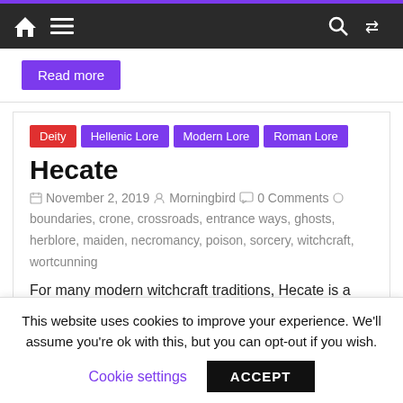Navigation bar with home, menu, search, and shuffle icons
Read more
Deity | Hellenic Lore | Modern Lore | Roman Lore
Hecate
November 2, 2019  Morningbird  0 Comments  boundaries, crone, crossroads, entrance ways, ghosts, herblore, maiden, necromancy, poison, sorcery, witchcraft, wortcunning
For many modern witchcraft traditions, Hecate is a Dark
This website uses cookies to improve your experience. We'll assume you're ok with this, but you can opt-out if you wish. Cookie settings ACCEPT